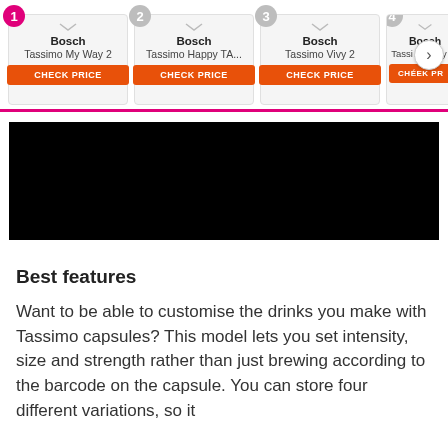[Figure (screenshot): Product comparison bar with 4 Bosch Tassimo coffee machine cards numbered 1-4, each with a CHECK PRICE button. Card 4 is partially visible with a next arrow. Cards are on a light grey background with a pink underline on card 1.]
[Figure (photo): Large black rectangle (redacted/obscured image area)]
Best features
Want to be able to customise the drinks you make with Tassimo capsules? This model lets you set intensity, size and strength rather than just brewing according to the barcode on the capsule. You can store four different variations, so it